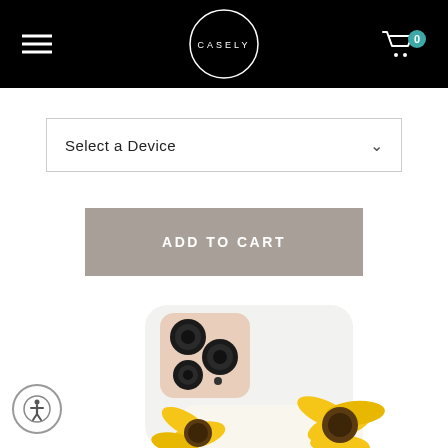CASELY
Select a Device
ADD TO CART
[Figure (photo): iPhone 12 Pro in a white case with sunflower design at the bottom, partially showing yellow sunflowers. The phone has a triple camera system with gold frame.]